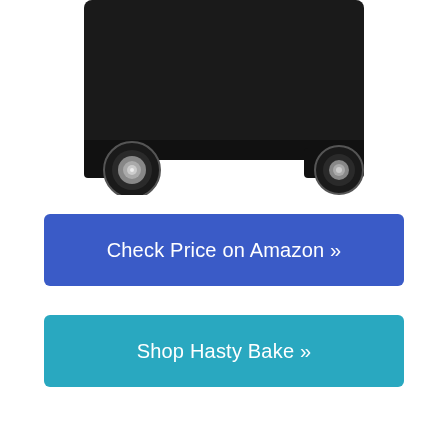[Figure (photo): Bottom portion of a black charcoal grill/smoker on wheels, showing the lower body and two wheels against a white background.]
Check Price on Amazon »
Shop Hasty Bake »
| Origin | Oklahoma |
| Year Founded | 1948 |